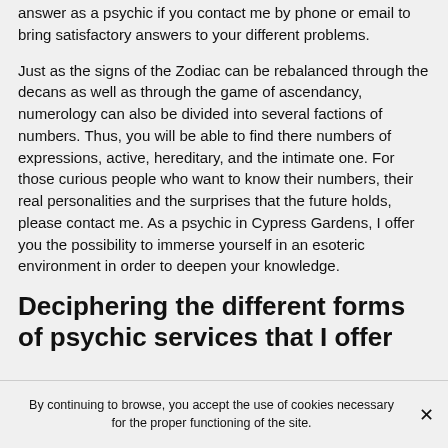answer as a psychic if you contact me by phone or email to bring satisfactory answers to your different problems.
Just as the signs of the Zodiac can be rebalanced through the decans as well as through the game of ascendancy, numerology can also be divided into several factions of numbers. Thus, you will be able to find there numbers of expressions, active, hereditary, and the intimate one. For those curious people who want to know their numbers, their real personalities and the surprises that the future holds, please contact me. As a psychic in Cypress Gardens, I offer you the possibility to immerse yourself in an esoteric environment in order to deepen your knowledge.
Deciphering the different forms of psychic services that I offer
By continuing to browse, you accept the use of cookies necessary for the proper functioning of the site.